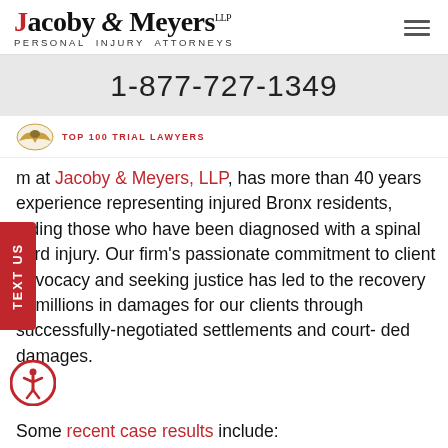[Figure (logo): Jacoby & Meyers LLP Personal Injury Attorneys logo with red and black serif text]
1-877-727-1349
[Figure (logo): Top 100 Trial Lawyers badge with eagle icon]
TEXT US
m at Jacoby & Meyers, LLP, has more than 40 years experience representing injured Bronx residents, luding those who have been diagnosed with a spinal cord injury. Our firm's passionate commitment to client advocacy and seeking justice has led to the recovery of millions in damages for our clients through successfully-negotiated settlements and court-ded damages.
Some recent case results include: